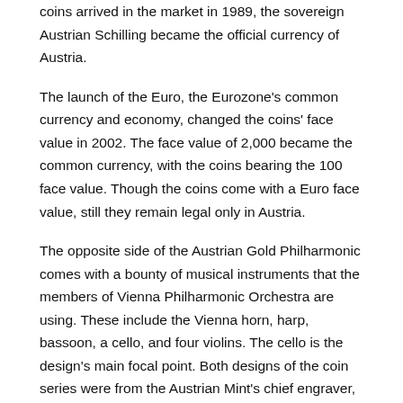coins arrived in the market in 1989, the sovereign Austrian Schilling became the official currency of Austria.
The launch of the Euro, the Eurozone's common currency and economy, changed the coins' face value in 2002. The face value of 2,000 became the common currency, with the coins bearing the 100 face value. Though the coins come with a Euro face value, still they remain legal only in Austria.
The opposite side of the Austrian Gold Philharmonic comes with a bounty of musical instruments that the members of Vienna Philharmonic Orchestra are using. These include the Vienna horn, harp, bassoon, a cello, and four violins. The cello is the design's main focal point. Both designs of the coin series were from the Austrian Mint's chief engraver, Thomas Pesendorfer.
The Austrian Mint is the official sovereign mint of the Austrian government. In fact, it's among the few companies in Europe that are legal producers of Euros for the European Union's currency.